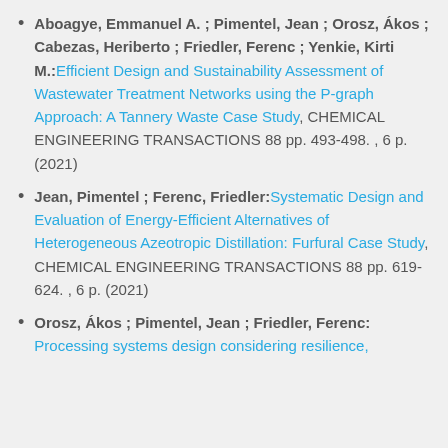Aboagye, Emmanuel A. ; Pimentel, Jean ; Orosz, Ákos ; Cabezas, Heriberto ; Friedler, Ferenc ; Yenkie, Kirti M.:Efficient Design and Sustainability Assessment of Wastewater Treatment Networks using the P-graph Approach: A Tannery Waste Case Study, CHEMICAL ENGINEERING TRANSACTIONS 88 pp. 493-498. , 6 p. (2021)
Jean, Pimentel ; Ferenc, Friedler:Systematic Design and Evaluation of Energy-Efficient Alternatives of Heterogeneous Azeotropic Distillation: Furfural Case Study, CHEMICAL ENGINEERING TRANSACTIONS 88 pp. 619-624. , 6 p. (2021)
Orosz, Ákos ; Pimentel, Jean ; Friedler, Ferenc: Processing systems design considering resilience,